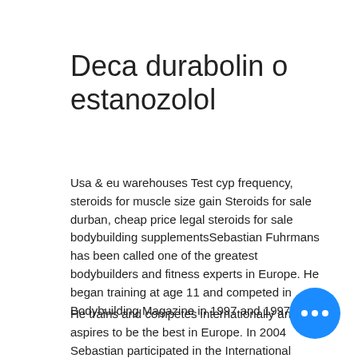Deca durabolin o estanozolol
Usa & eu warehouses Test cyp frequency, steroids for muscle size gain Steroids for sale durban, cheap price legal steroids for sale bodybuilding supplementsSebastian Fuhrmans has been called one of the greatest bodybuilders and fitness experts in Europe. He began training at age 11 and competed in Bodybuilding Magazine in 1997 and 1997.
He trains and competes internationally and aspires to be the best in Europe. In 2004 Sebastian participated in the International Bodybuilding Contest in Lisbon and won a bronze medal, deca durabolin online buy. In
[Figure (other): Blue circular chat button with three horizontal dots (ellipsis) icon]